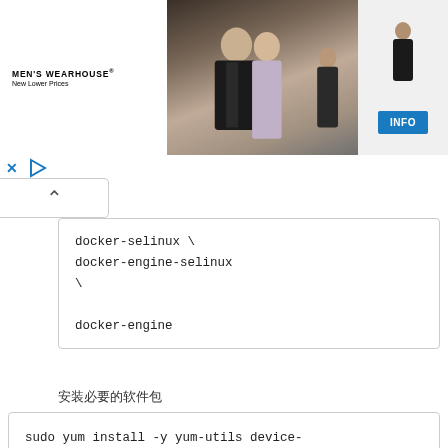[Figure (screenshot): Men's Wearhouse advertisement banner showing a couple in formal attire and a child in a suit, with a blue INFO button]
docker-selinux \
docker-engine-selinux
\

docker-engine
安装必要的软件包
sudo yum install -y yum-utils device-mapper-persistent-data lvm2
添加软件源
sudo yum-config-manager --add-repo
http://mirrors.aliyun.com/docker-ce/linux/centos/docker-ce.repo